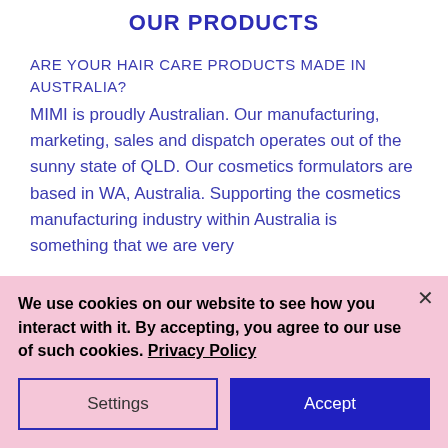OUR PRODUCTS
ARE YOUR HAIR CARE PRODUCTS MADE IN AUSTRALIA?
MIMI is proudly Australian. Our manufacturing, marketing, sales and dispatch operates out of the sunny state of QLD. Our cosmetics formulators are based in WA, Australia. Supporting the cosmetics manufacturing industry within Australia is something that we are very
We use cookies on our website to see how you interact with it. By accepting, you agree to our use of such cookies. Privacy Policy
Settings
Accept